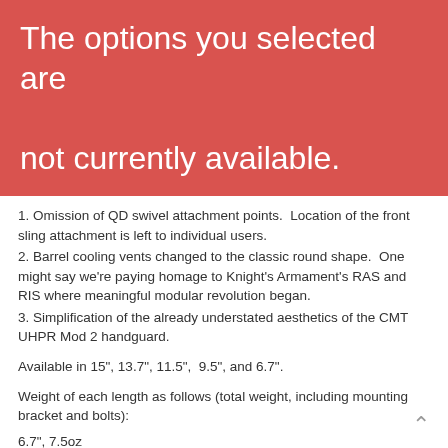The options you selected are not currently available.
1. Omission of QD swivel attachment points.  Location of the front sling attachment is left to individual users.
2. Barrel cooling vents changed to the classic round shape.  One might say we're paying homage to Knight's Armament's RAS and RIS where meaningful modular revolution began.
3. Simplification of the already understated aesthetics of the CMT UHPR Mod 2 handguard.
Available in 15", 13.7", 11.5",  9.5", and 6.7".
Weight of each length as follows (total weight, including mounting bracket and bolts):
6.7", 7.5oz
9.5", .9.02oz
11.5", 9.25oz
12.8", 10.95oz
13.7", 11.51oz
15", 12.35 oz